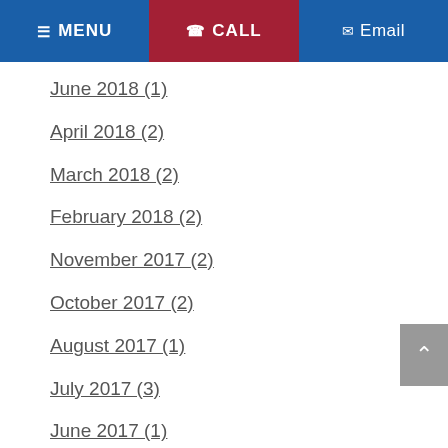MENU   CALL   Email
June 2018 (1)
April 2018 (2)
March 2018 (2)
February 2018 (2)
November 2017 (2)
October 2017 (2)
August 2017 (1)
July 2017 (3)
June 2017 (1)
April 2017 (3)
March 2017 (1)